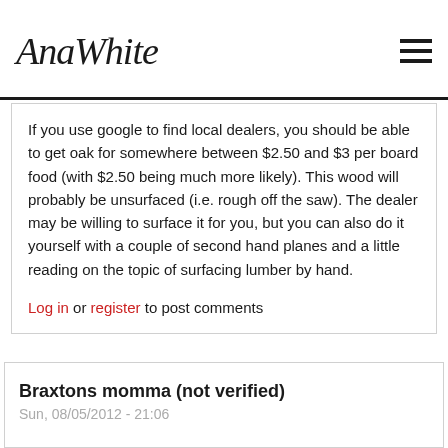AnaWhite
If you use google to find local dealers, you should be able to get oak for somewhere between $2.50 and $3 per board food (with $2.50 being much more likely). This wood will probably be unsurfaced (i.e. rough off the saw). The dealer may be willing to surface it for you, but you can also do it yourself with a couple of second hand planes and a little reading on the topic of surfacing lumber by hand.
Log in or register to post comments
Braxtons momma (not verified)
Sun, 08/05/2012 - 21:06